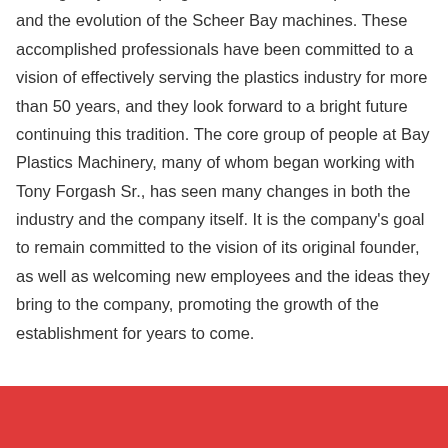for originally developing the Conair JETRO pelletizer line and the evolution of the Scheer Bay machines. These accomplished professionals have been committed to a vision of effectively serving the plastics industry for more than 50 years, and they look forward to a bright future continuing this tradition. The core group of people at Bay Plastics Machinery, many of whom began working with Tony Forgash Sr., has seen many changes in both the industry and the company itself. It is the company's goal to remain committed to the vision of its original founder, as well as welcoming new employees and the ideas they bring to the company, promoting the growth of the establishment for years to come.